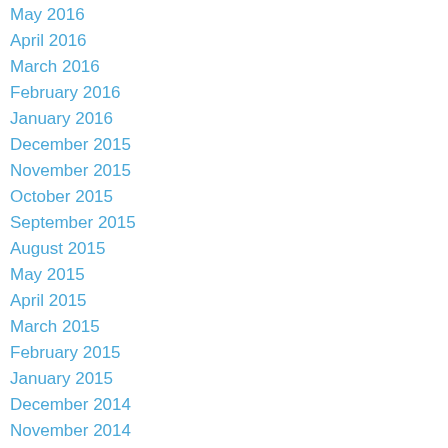May 2016
April 2016
March 2016
February 2016
January 2016
December 2015
November 2015
October 2015
September 2015
August 2015
May 2015
April 2015
March 2015
February 2015
January 2015
December 2014
November 2014
October 2014
September 2014
August 2014
June 2014